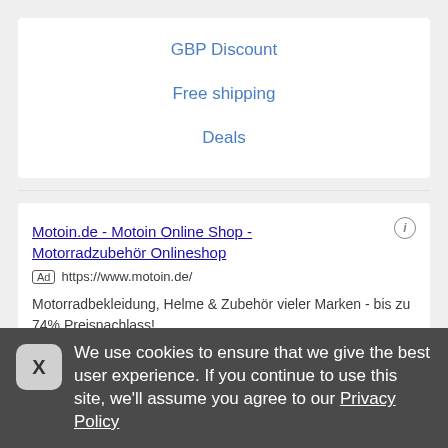GBP Discount
Free shipping
Deals
Motoin.de - Motoin Online Shop - Motorradzubehör Onlineshop
Ad https://www.motoin.de/
Motorradbekleidung, Helme & Zubehör vieler Marken - bis zu 74% Preisnachlass!
We use cookies to ensure that we give the best user experience. If you continue to use this site, we'll assume you agree to our Privacy Policy